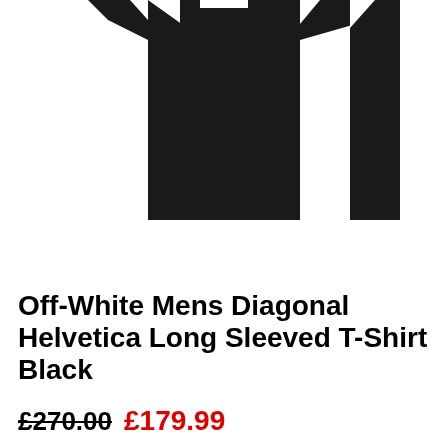[Figure (photo): Product photo of Off-White Men's Diagonal Helvetica Long Sleeved T-Shirt in Black. The image shows the upper portion of a black long-sleeved t-shirt with white diagonal stripe accents on the shoulders/cuffs, photographed on a white background. Only the top portion (torso and upper sleeves) is visible.]
Off-White Mens Diagonal Helvetica Long Sleeved T-Shirt Black
£270.00 £179.99